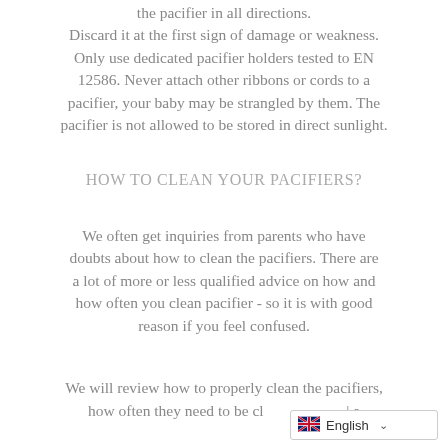the pacifier in all directions. Discard it at the first sign of damage or weakness. Only use dedicated pacifier holders tested to EN 12586. Never attach other ribbons or cords to a pacifier, your baby may be strangled by them. The pacifier is not allowed to be stored in direct sunlight.
HOW TO CLEAN YOUR PACIFIERS?
We often get inquiries from parents who have doubts about how to clean the pacifiers. There are a lot of more or less qualified advice on how and how often you clean pacifier - so it is with good reason if you feel confused.
We will review how to properly clean the pacifiers, how often they need to be cl... | a